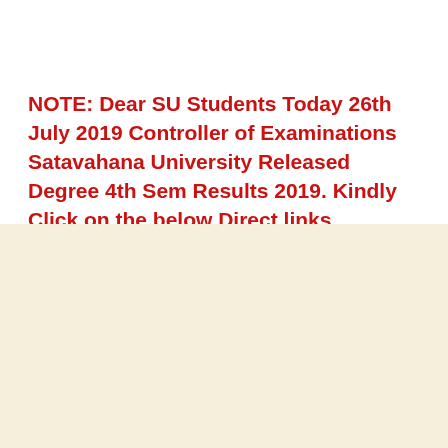NOTE: Dear SU Students Today 26th July 2019 Controller of Examinations Satavahana University Released Degree 4th Sem Results 2019. Kindly Click on the below Direct links.